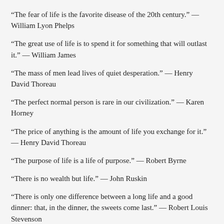“The fear of life is the favorite disease of the 20th century.” — William Lyon Phelps
“The great use of life is to spend it for something that will outlast it.” — William James
“The mass of men lead lives of quiet desperation.” — Henry David Thoreau
“The perfect normal person is rare in our civilization.” — Karen Horney
“The price of anything is the amount of life you exchange for it.” — Henry David Thoreau
“The purpose of life is a life of purpose.” — Robert Byrne
“There is no wealth but life.” — John Ruskin
“There is only one difference between a long life and a good dinner: that, in the dinner, the sweets come last.” — Robert Louis Stevenson